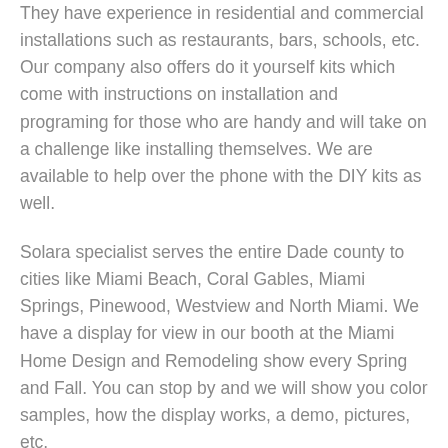They have experience in residential and commercial installations such as restaurants, bars, schools, etc. Our company also offers do it yourself kits which come with instructions on installation and programing for those who are handy and will take on a challenge like installing themselves. We are available to help over the phone with the DIY kits as well.
Solara specialist serves the entire Dade county to cities like Miami Beach, Coral Gables, Miami Springs, Pinewood, Westview and North Miami. We have a display for view in our booth at the Miami Home Design and Remodeling show every Spring and Fall. You can stop by and we will show you color samples, how the display works, a demo, pictures, etc.
Overall, the Solara louvered roof system has provided many of our clients the possibility to spend more time outdoors enjoying the nice weather. Please contact us for